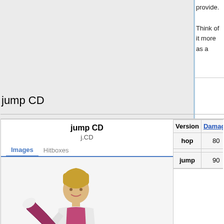provide.

Think of it more as a
jump CD
| Version | Damage | G |
| --- | --- | --- |
| hop | 80 |  |
| jump | 90 |  |
[Figure (illustration): Character King performing a jump kick in pink/purple outfit]
King's best air-to-air hitbox and how long
Throws
Hold Rush